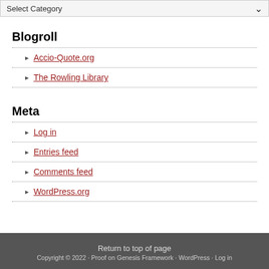Select Category
Blogroll
Accio-Quote.org
The Rowling Library
Meta
Log in
Entries feed
Comments feed
WordPress.org
Return to top of page Copyright © 2022 · Proof on Genesis Framework · WordPress · Log in